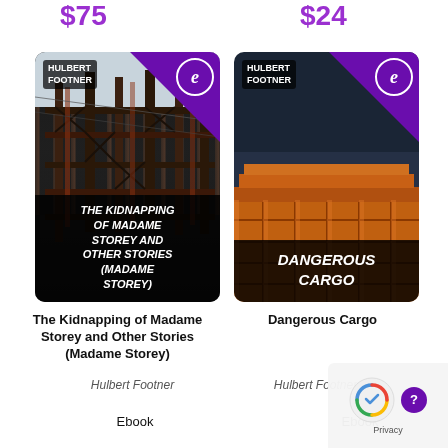$75
$24
[Figure (illustration): Book cover: The Kidnapping of Madame Storey and Other Stories (Madame Storey) by Hulbert Footner. Industrial/girder background, black overlay with white italic title text, purple corner with e-logo.]
[Figure (illustration): Book cover: Dangerous Cargo by Hulbert Footner. Stacked orange shipping containers against dark blue sky, black overlay with white bold title text, purple corner with e-logo.]
The Kidnapping of Madame Storey and Other Stories (Madame Storey)
Dangerous Cargo
Hulbert Footner
Hulbert Footner
Ebook
Ebook